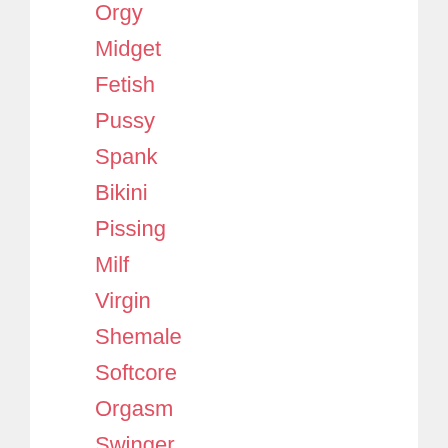Orgy
Midget
Fetish
Pussy
Spank
Bikini
Pissing
Milf
Virgin
Shemale
Softcore
Orgasm
Swinger
Dildo